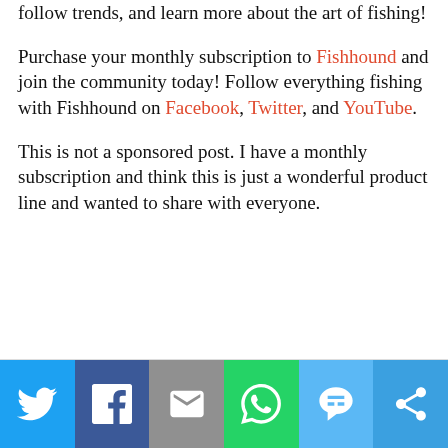follow trends, and learn more about the art of fishing!
Purchase your monthly subscription to Fishhound and join the community today! Follow everything fishing with Fishhound on Facebook, Twitter, and YouTube.
This is not a sponsored post. I have a monthly subscription and think this is just a wonderful product line and wanted to share with everyone.
[Figure (infographic): Social sharing bar with icons for Twitter, Facebook, Email, WhatsApp, SMS, and More]